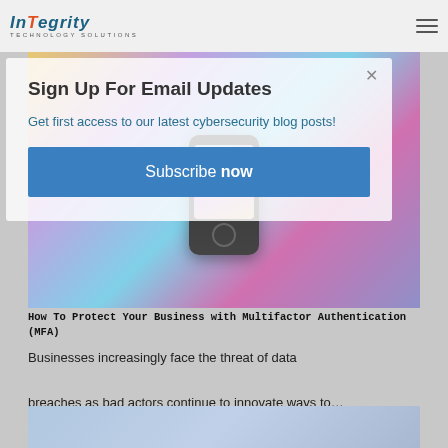InTegrity Technology Solutions
Sign Up For Email Updates
Get first access to our latest cybersecurity blog posts!
Subscribe now
[Figure (photo): Smartphone with colorful bokeh background lighting]
How To Protect Your Business with Multifactor Authentication (MFA)
Businesses increasingly face the threat of data breaches as bad actors continue to innovate ways to…
[Figure (photo): Partial view of another article image at the bottom]